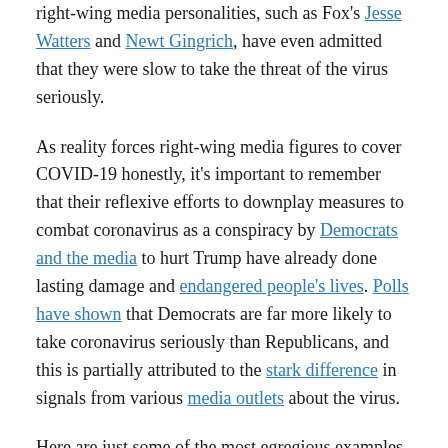right-wing media personalities, such as Fox's Jesse Watters and Newt Gingrich, have even admitted that they were slow to take the threat of the virus seriously.
As reality forces right-wing media figures to cover COVID-19 honestly, it's important to remember that their reflexive efforts to downplay measures to combat coronavirus as a conspiracy by Democrats and the media to hurt Trump have already done lasting damage and endangered people's lives. Polls have shown that Democrats are far more likely to take coronavirus seriously than Republicans, and this is partially attributed to the stark difference in signals from various media outlets about the virus.
Here are just some of the most egregious examples of conservative media downplaying the threat of coronavirus over the last several weeks:
Mid-March